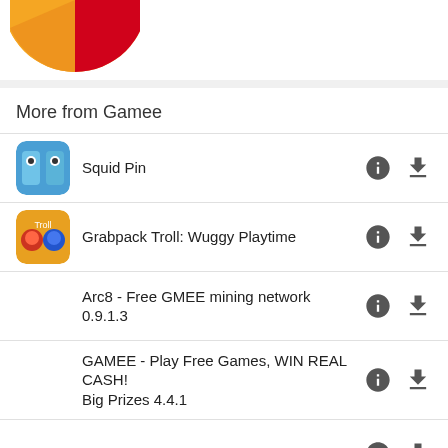[Figure (illustration): Partial pie chart visible at top left corner, showing orange and red slices]
More from Gamee
Squid Pin
Grabpack Troll: Wuggy Playtime
Arc8 - Free GMEE mining network 0.9.1.3
GAMEE - Play Free Games, WIN REAL CASH! Big Prizes 4.4.1
Save The Girl - Pull The Pin
Hero Tower Wars - Math Puzzle 1.5